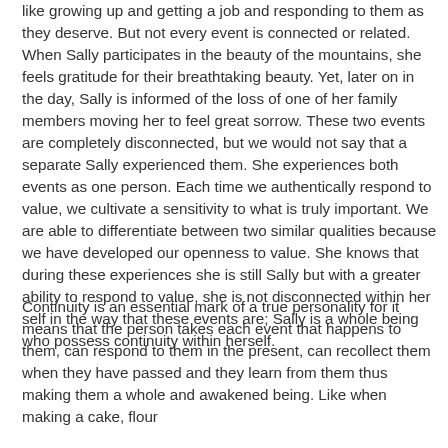like growing up and getting a job and responding to them as they deserve. But not every event is connected or related. When Sally participates in the beauty of the mountains, she feels gratitude for their breathtaking beauty. Yet, later on in the day, Sally is informed of the loss of one of her family members moving her to feel great sorrow. These two events are completely disconnected, but we would not say that a separate Sally experienced them. She experiences both events as one person. Each time we authentically respond to value, we cultivate a sensitivity to what is truly important. We are able to differentiate between two similar qualities because we have developed our openness to value. She knows that during these experiences she is still Sally but with a greater ability to respond to value, she is not disconnected within her self in the way that these events are; Sally is a whole being who possess continuity within herself.
Continuity is an essential mark of a true personality for it means that the person takes each event that happens to them, can respond to them in the present, can recollect them when they have passed and they learn from them thus making them a whole and awakened being. Like when making a cake, flour